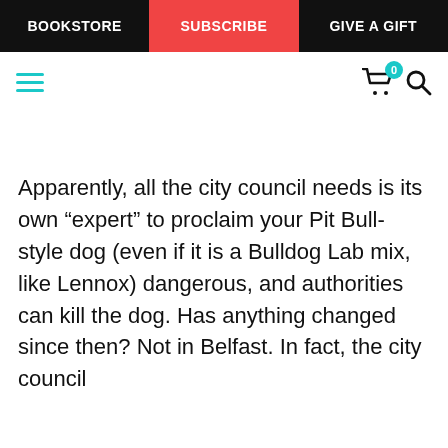BOOKSTORE | SUBSCRIBE | GIVE A GIFT
[Figure (screenshot): Navigation bar with hamburger menu icon in teal, cart icon with badge showing 0, and search icon]
Apparently, all the city council needs is its own "expert" to proclaim your Pit Bull-style dog (even if it is a Bulldog Lab mix, like Lennox) dangerous, and authorities can kill the dog. Has anything changed since then? Not in Belfast. In fact, the city council